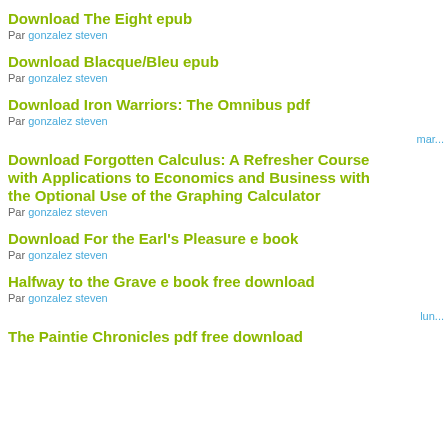Download The Eight epub
Par gonzalez steven
Download Blacque/Bleu epub
Par gonzalez steven
Download Iron Warriors: The Omnibus pdf
Par gonzalez steven
mar...
Download Forgotten Calculus: A Refresher Course with Applications to Economics and Business with the Optional Use of the Graphing Calculator
Par gonzalez steven
Download For the Earl's Pleasure e book
Par gonzalez steven
Halfway to the Grave e book free download
Par gonzalez steven
lun...
The Paintie Chronicles pdf free download